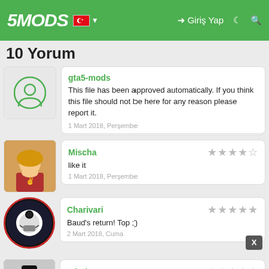5MODS — Giriş Yap
10 Yorum
gta5-mods
This file has been approved automatically. If you think this file should not be here for any reason please report it.
1 Mart 2018, Perşembe
Mischa
like it
1 Mart 2018, Perşembe
Charivari
Baud's return! Top ;)
2 Mart 2018, Cuma
toitoine66
noice !